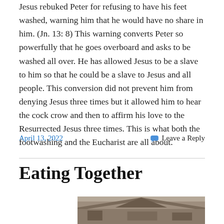Jesus rebuked Peter for refusing to have his feet washed, warning him that he would have no share in him. (Jn. 13: 8) This warning converts Peter so powerfully that he goes overboard and asks to be washed all over. He has allowed Jesus to be a slave to him so that he could be a slave to Jesus and all people. This conversion did not prevent him from denying Jesus three times but it allowed him to hear the cock crow and then to affirm his love to the Resurrected Jesus three times. This is what both the footwashing and the Eucharist are all about.
April 13, 2022
Leave a Reply
Eating Together
[Figure (photo): Partial view of a building with a roof, bottom portion visible]